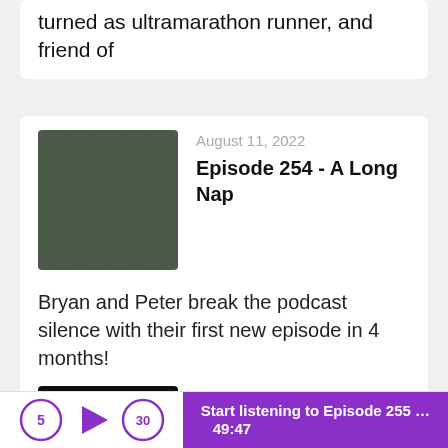turned as ultramarathon runner, and friend of
August 11, 2022
Episode 254 - A Long Nap
[Figure (photo): Thumbnail photo of a runner in a dark outdoor setting]
Bryan and Peter break the podcast silence with their first new episode in 4 months!
April 29, 2022
Episode 253 Boston Marathon 2022
[Figure (photo): Dark/black thumbnail image for Episode 253]
Start listening to Episode 255 …  49:47